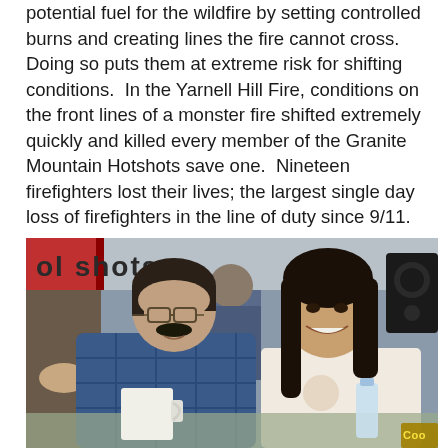potential fuel for the wildfire by setting controlled burns and creating lines the fire cannot cross.  Doing so puts them at extreme risk for shifting conditions.  In the Yarnell Hill Fire, conditions on the front lines of a monster fire shifted extremely quickly and killed every member of the Granite Mountain Hotshots save one.  Nineteen firefighters lost their lives; the largest single day loss of firefighters in the line of duty since 9/11.
[Figure (photo): Photo of a man and woman sitting together at what appears to be an outdoor event. The man has dark hair with a mustache and wears glasses and a blue plaid shirt. The woman has long dark hair and wears a white t-shirt. Background shows a food truck or booth with text, a speaker, and other people. Items on the table include a white mug and a water bottle. A Coors label is partially visible in the bottom right corner.]